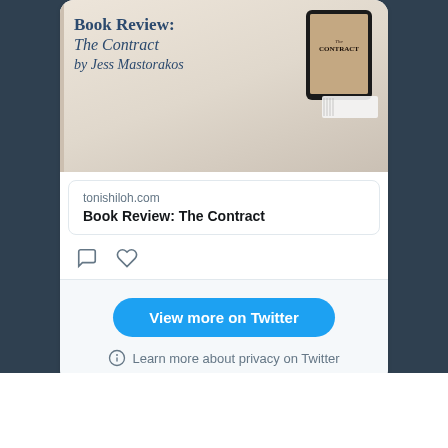[Figure (screenshot): Twitter embedded card showing a book review post. Top portion shows an image with text 'Book Review: The Contract by Jess Mastorakos' in serif font on a light wood background, with a tablet mockup on the right. Below is a link preview card showing 'tonishiloh.com' and 'Book Review: The Contract'. Comment and heart icons are shown below the card. A blue 'View more on Twitter' button and 'Learn more about privacy on Twitter' text appear in the bottom section.]
tonishiloh.com
Book Review: The Contract
View more on Twitter
Learn more about privacy on Twitter